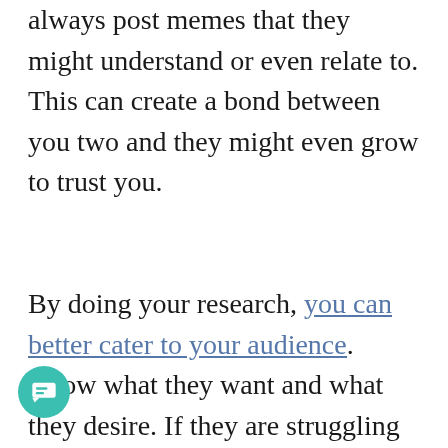always post memes that they might understand or even relate to. This can create a bond between you two and they might even grow to trust you.
By doing your research, you can better cater to your audience. Know what they want and what they desire. If they are struggling with something and you can use social media to solve their problems — go ahead.